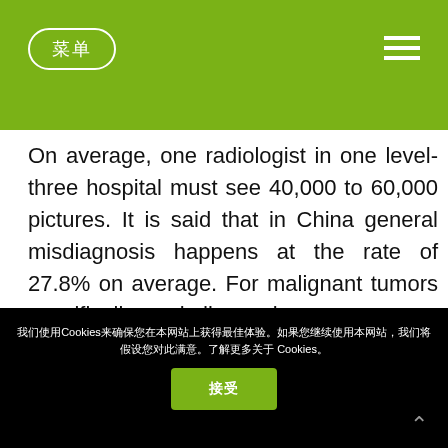菜单 (navigation pill and hamburger menu)
On average, one radiologist in one level-three hospital must see 40,000 to 60,000 pictures. It is said that in China general misdiagnosis happens at the rate of 27.8% on average. For malignant tumors specifically, misdiagnosis on average happens at the rate of 40%.
3. Image diagnosis takes time: For example, when one patient with a tumor comes up with 200
我们使用Cookies来确保您在本网站上获得最佳体验。如果您继续使用本网站，我们将假设您对此满意。了解更多关于 Cookies。
接受